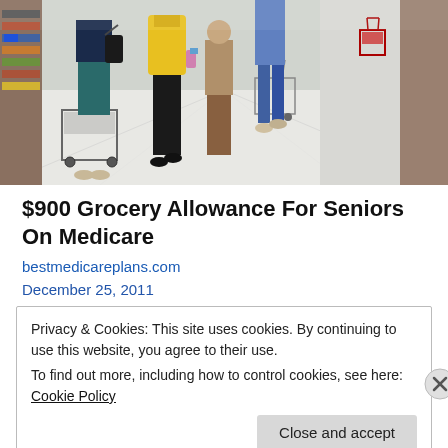[Figure (photo): Elderly people shopping in a grocery store aisle, pushing shopping carts, viewed from behind. One person wears a bright yellow jacket.]
$900 Grocery Allowance For Seniors On Medicare
bestmedicareplans.com
December 25, 2011
Privacy & Cookies: This site uses cookies. By continuing to use this website, you agree to their use.
To find out more, including how to control cookies, see here: Cookie Policy
Close and accept